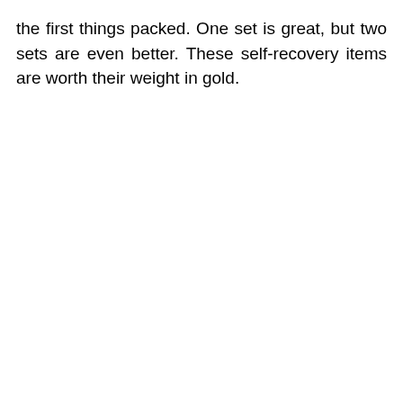the first things packed. One set is great, but two sets are even better. These self-recovery items are worth their weight in gold.